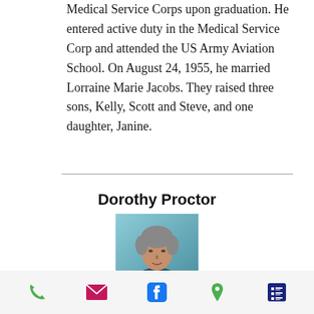Medical Service Corps upon graduation. He entered active duty in the Medical Service Corp and attended the US Army Aviation School. On August 24, 1955, he married Lorraine Marie Jacobs. They raised three sons, Kelly, Scott and Steve, and one daughter, Janine.
Dorothy Proctor
[Figure (photo): Portrait photo of Dorothy Proctor, an elderly woman with short grey hair against a light blue-green background]
Phone | Email | Facebook | Location | Menu icons